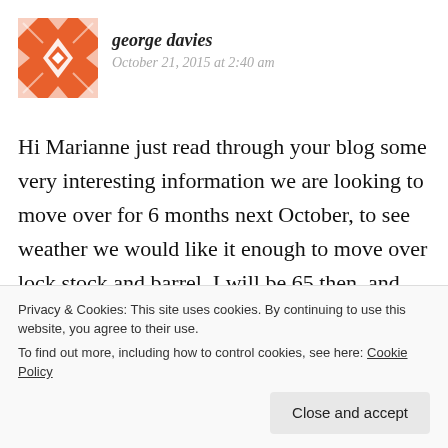[Figure (illustration): Avatar image: orange and white geometric/snowflake pattern avatar for user george davies]
george davies
October 21, 2015 at 2:40 am
Hi Marianne just read through your blog some very interesting information we are looking to move over for 6 months next October, to see weather we would like it enough to move over lock stock and barrel, I will be 65 then. and one of the sticking points is the
Privacy & Cookies: This site uses cookies. By continuing to use this website, you agree to their use.
To find out more, including how to control cookies, see here: Cookie Policy
Close and accept